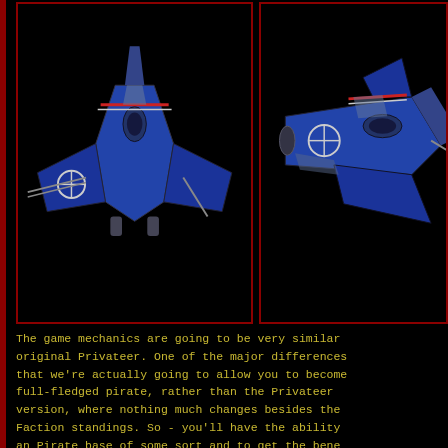[Figure (photo): 3D rendered spaceship model in blue and silver coloring with red and white stripes, viewed from above-front angle on black background]
[Figure (photo): 3D rendered spaceship model in blue and silver coloring with red and white stripes, viewed from side angle on black background]
The game mechanics are going to be very similar to the original Privateer. One of the major differences is that we're actually going to allow you to become a full-fledged pirate, rather than the Privateer version, where nothing much changes besides the Faction standings. So - you'll have the ability to use an Pirate base of some sort and to get the benefits thereof.
The entire game is going to be from the first-person perspective. This means that you'll be walking around bases, talking to fully modeled people and things. If you need to get a new gun, you walk from your ship down to the Ship dealer, purchase the gun, and have it delivered to your ship on the landing pad (You'll need to remember your pad number). This is not as hard to pull off as it sounds at first. We're basing...